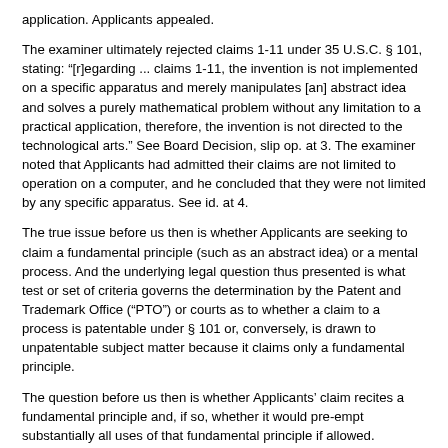application. Applicants appealed.
The examiner ultimately rejected claims 1-11 under 35 U.S.C. § 101, stating: "[r]egarding ... claims 1-11, the invention is not implemented on a specific apparatus and merely manipulates [an] abstract idea and solves a purely mathematical problem without any limitation to a practical application, therefore, the invention is not directed to the technological arts." See Board Decision, slip op. at 3. The examiner noted that Applicants had admitted their claims are not limited to operation on a computer, and he concluded that they were not limited by any specific apparatus. See id. at 4.
The true issue before us then is whether Applicants are seeking to claim a fundamental principle (such as an abstract idea) or a mental process. And the underlying legal question thus presented is what test or set of criteria governs the determination by the Patent and Trademark Office ("PTO") or courts as to whether a claim to a process is patentable under § 101 or, conversely, is drawn to unpatentable subject matter because it claims only a fundamental principle.
The question before us then is whether Applicants' claim recites a fundamental principle and, if so, whether it would pre-empt substantially all uses of that fundamental principle if allowed. Unfortunately, this inquiry is hardly straightforward. How does one determine whether a given claim would pre-empt all uses of a fundamental principle? Analogizing to the